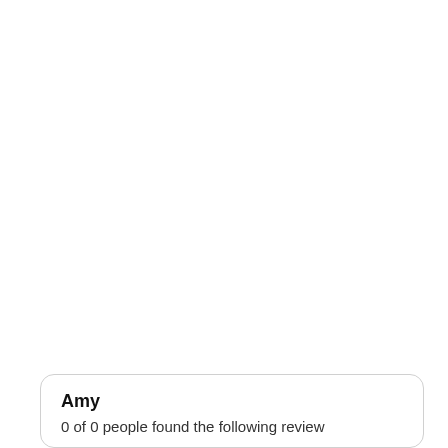Write A Review
Rating: ★★★★½ 28 REVIEWS
Sort Reviews By: Newest
Amy
0 of 0 people found the following review